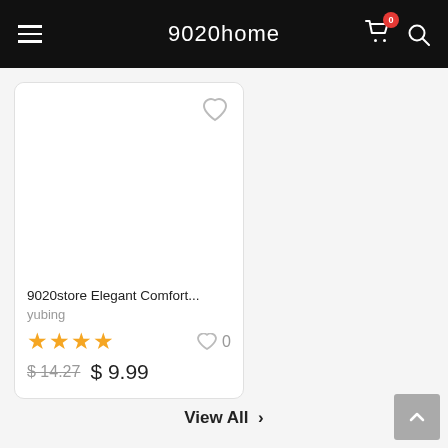9020home
[Figure (screenshot): Product card showing 9020store Elegant Comfort... item by yubing, 4 stars rating, 0 favorites, original price $14.27 sale price $9.99, with heart wishlist icon]
9020store Elegant Comfort...
yubing
$ 14.27  $ 9.99
View All >